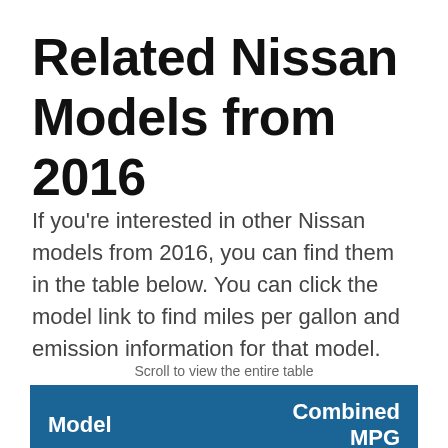Related Nissan Models from 2016
If you're interested in other Nissan models from 2016, you can find them in the table below. You can click the model link to find miles per gallon and emission information for that model.
Scroll to view the entire table
| Model | Combined MPG |
| --- | --- |